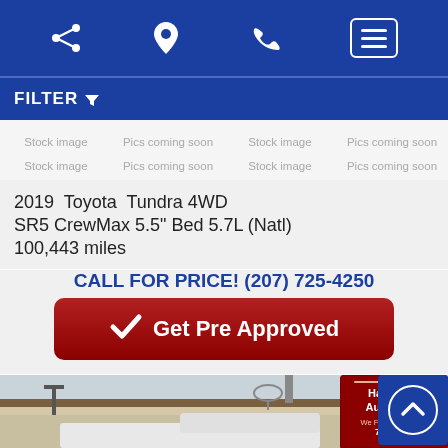Navigation bar with share, location, phone, and menu icons
FILTER
Stock image  Pics coming soon  Stock image  Pics coming soon  Stock image  Pics coming soon  Stock image  Pics coming soon
2019 Toyota Tundra 4WD SR5 CrewMax 5.5" Bed 5.7L (Natl)
100,443 miles
CALL FOR PRICE! (207) 725-4250
Get Pre Approved
[Figure (photo): Exterior photo of a dealership building with a white truck partially visible; Harpswell Auto Sales sign visible at right reading 'We Finance Anyone 725-4250']